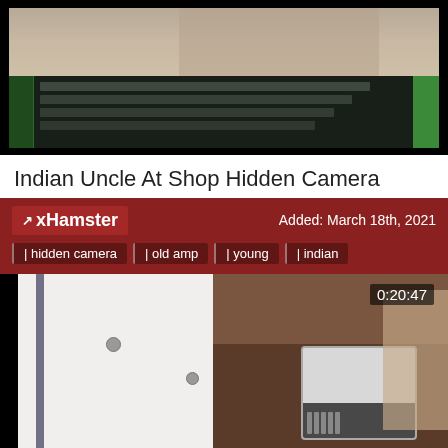[Figure (screenshot): Top portion of a video thumbnail showing an outdoor scene on top and a dark green/black chart or interface below]
Indian Uncle At Shop Hidden Camera
xHamster  Added: March 18th, 2021  | hidden camera | old amp | young | indian
[Figure (screenshot): Video player showing a hidden camera footage of a room with a white door, brown wooden cabinet, an air conditioning unit, and a partial figure on the right side. Timestamp shows 0:20:47]